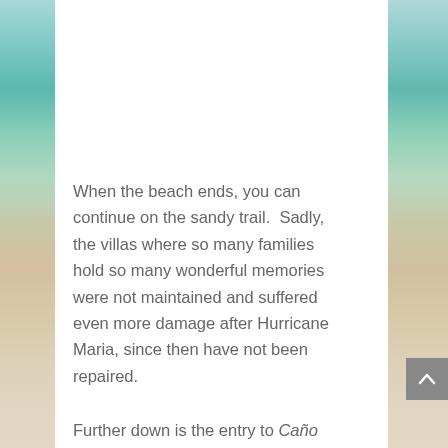[Figure (photo): Beach scene background on left and right sides showing turquoise water, sandy shore transitioning to sandy/beige tones lower down. White content card overlaid in the center.]
When the beach ends, you can continue on the sandy trail.  Sadly, the villas where so many families hold so many wonderful memories were not maintained and suffered even more damage after Hurricane Maria, since then have not been repaired.
Further down is the entry to Caño Boquernon, a great place to kayak, fish and where the marine police boats dock.